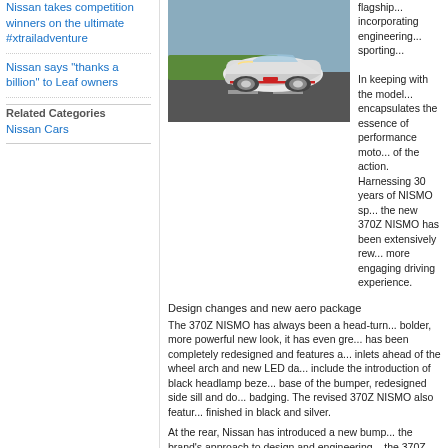Nissan takes competition winners on the ultimate #xtrailadventure
Nissan says "thanks a billion" to Leaf owners
Related Categories
Nissan Cars
[Figure (photo): White Nissan 370Z NISMO driving on a road, front three-quarter view]
flagship... incorporating... engineering... sporting...
In keeping with the model... encapsulates the essence of performance motoring, putting you right in the heart of the action. Harnessing 30 years of NISMO sport and performance expertise, the new 370Z NISMO has been extensively revised to deliver an even more engaging driving experience.
Design changes and new aero package
The 370Z NISMO has always been a head-turner, but now with a bolder, more powerful new look, it has even greater presence. The front end has been completely redesigned and features a new bumper with large air inlets ahead of the wheel arch and new LED daytime running lights. Further include the introduction of black headlamp bezels, a new red accent at the base of the bumper, redesigned side sill and door mirror bezels and NISMO badging. The revised 370Z NISMO also features new 19" RAYS alloy wheels finished in black and silver.
At the rear, Nissan has introduced a new bumper that perfectly reflects the brand's approach to design and engineering. Improving on the aerodynamics of the 370Z NISMO's aero package, the new version features a rear diffuser that works in tandem with the new front bumper to generate additional downforce when driving at speed. What's more, this downforce is evenly distributed over the front and rear axles, giving a more settled feel on the road. Nissan's calculations confirm that the new aerodynamic body package on the 370Z NISMO gives it more downforce th...
Racing-inspired interior